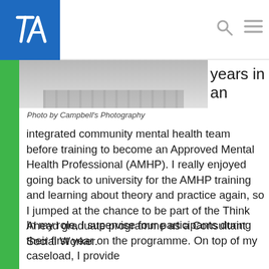Think Ahead — logo and navigation header
[Figure (photo): Partial photo of a person in white clothing, cropped at top]
Photo by Campbell's Photography
years in an
integrated community mental health team before training to become an Approved Mental Health Professional (AMHP). I really enjoyed going back to university for the AMHP training and learning about theory and practice again, so I jumped at the chance to be part of the Think Ahead graduate programme as a Consultant Social Worker.
In my role, I supervise four participants during their first year on the programme. On top of my caseload, I provide individual supervision and facilitat…